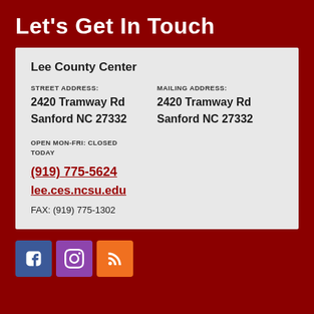Let's Get In Touch
Lee County Center
STREET ADDRESS:
2420 Tramway Rd
Sanford NC 27332
MAILING ADDRESS:
2420 Tramway Rd
Sanford NC 27332
OPEN MON-FRI: CLOSED TODAY
(919) 775-5624
lee.ces.ncsu.edu
FAX: (919) 775-1302
[Figure (infographic): Social media icons: Facebook (blue), Instagram (purple), RSS feed (orange)]